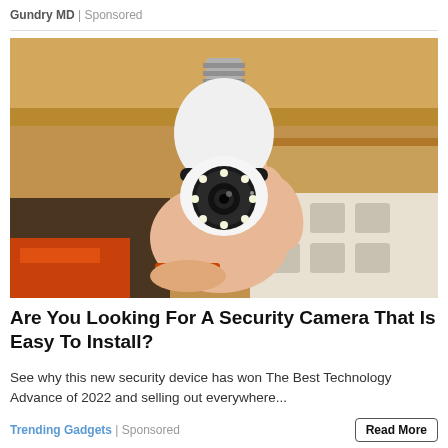Gundry MD | Sponsored
[Figure (photo): A hand holding a white security camera shaped like a light bulb with a standard E27/E26 screw base at the top. The camera has a round lens with LED lights arranged in a circle. The hand is holding it against a background of shelving and cardboard boxes.]
Are You Looking For A Security Camera That Is Easy To Install?
See why this new security device has won The Best Technology Advance of 2022 and selling out everywhere...
Trending Gadgets | Sponsored
Read More